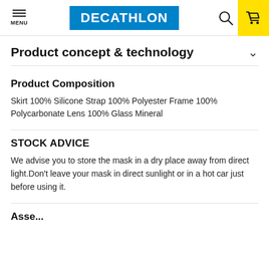DECATHLON — MENU header with search and cart
Product concept & technology
Product Composition
Skirt 100% Silicone Strap 100% Polyester Frame 100% Polycarbonate Lens 100% Glass Mineral
STOCK ADVICE
We advise you to store the mask in a dry place away from direct light.Don't leave your mask in direct sunlight or in a hot car just before using it.